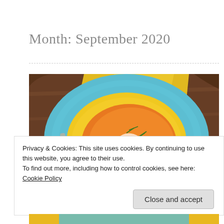Month: September 2020
[Figure (photo): Overhead view of a bowl of orange soup (pumpkin or butternut squash) in a yellow bowl on a teal plate, with sesame seeds and chive garnish, on a wooden board with a yellow napkin and spoon]
Privacy & Cookies: This site uses cookies. By continuing to use this website, you agree to their use.
To find out more, including how to control cookies, see here: Cookie Policy
Close and accept